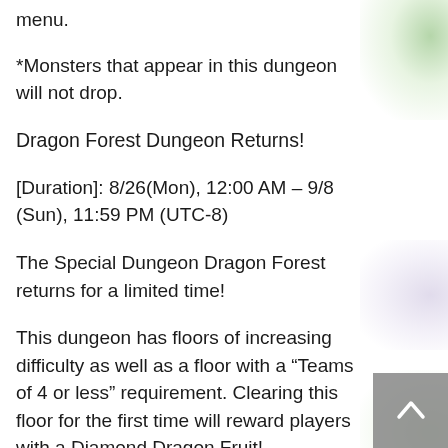menu.
*Monsters that appear in this dungeon will not drop.
Dragon Forest Dungeon Returns!
[Duration]: 8/26(Mon), 12:00 AM – 9/8 (Sun), 11:59 PM (UTC-8)
The Special Dungeon Dragon Forest returns for a limited time!
This dungeon has floors of increasing difficulty as well as a floor with a “Teams of 4 or less” requirement. Clearing this floor for the first time will reward players with a Diamond Dragon Fruit!